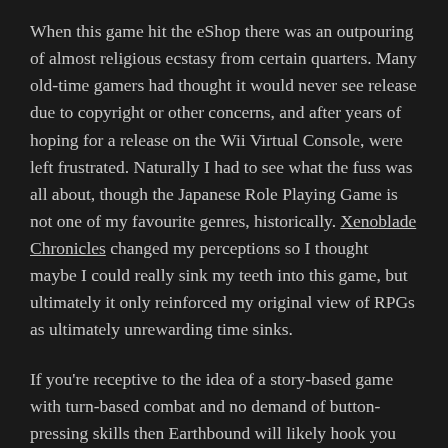When this game hit the eShop there was an outpouring of almost religious ecstasy from certain quarters. Many old-time gamers had thought it would never see release due to copyright or other concerns, and after years of hoping for a release on the Wii Virtual Console, were left frustrated. Naturally I had to see what the fuss was all about, though the Japanese Role Playing Game is not one of my favourite genres, historically. Xenoblade Chronicles changed my perceptions so I thought maybe I could really sink my teeth into this game, but ultimately it only reinforced my original view of RPGs as ultimately unrewarding time sinks.
If you're receptive to the idea of a story-based game with turn-based combat and no demand of button-pressing skills then Earthbound will likely hook you initially as it did me. The cute "Charlie Brown"-looking characters and silly tone are quite endearing